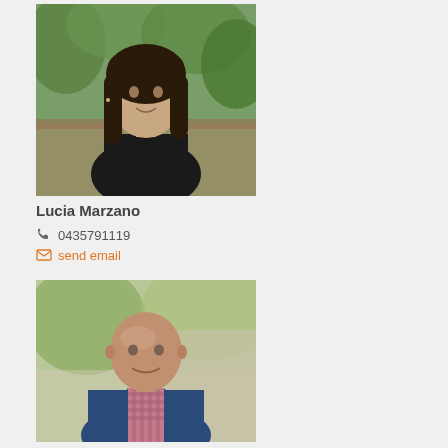[Figure (photo): Professional headshot of Lucia Marzano, a woman with long dark hair wearing a black sleeveless top, smiling, with green foliage in background]
Lucia Marzano
0435791119
send email
[Figure (photo): Professional headshot of a bald man wearing a blue suit jacket and checkered shirt, smiling, with blurred outdoor background]